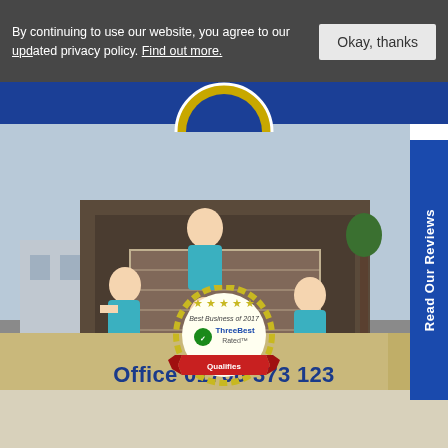By continuing to use our website, you agree to our updated privacy policy. Find out more.
Okay, thanks
[Figure (photo): Four people in blue polo shirts loading furniture into the back of a removal lorry. One person stands inside the truck while three others stand outside holding a large wrapped piece of furniture.]
Read Our Reviews
[Figure (logo): ThreeBest Rated Best Business of 2017 award badge with red ribbon and stars]
Office 01706 373 123
Mobile 07802 388 588